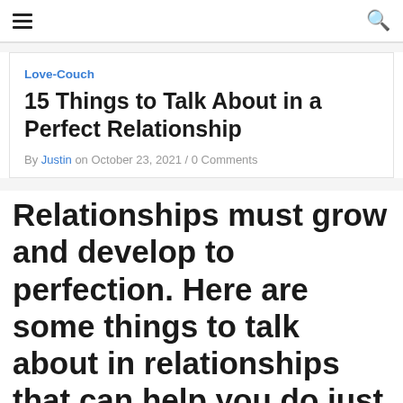≡  🔍
Love-Couch
15 Things to Talk About in a Perfect Relationship
By Justin on October 23, 2021 / 0 Comments
Relationships must grow and develop to perfection. Here are some things to talk about in relationships that can help you do just…